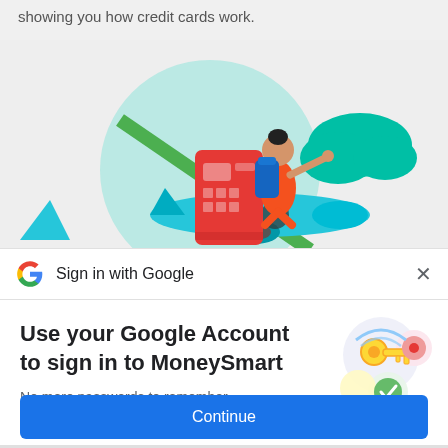showing you how credit cards work.
[Figure (illustration): Illustration of a person with a backpack riding on a large red credit card like a flying carpet, pointing forward. Teal circular background, green diagonal stripe, teal cloud on the right.]
Sign in with Google
Use your Google Account to sign in to MoneySmart
[Figure (illustration): Google sign-in key illustration: a golden key with colorful circles and security icons.]
No more passwords to remember. Signing in is fast, simple and secure.
Continue